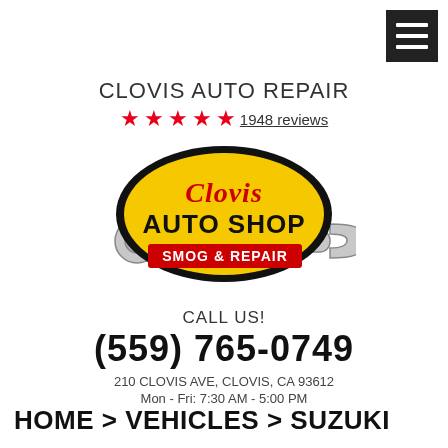[Figure (logo): Menu/hamburger icon button in dark background at top right]
CLOVIS AUTO REPAIR
★★★★★  1948 reviews
[Figure (logo): Clovis Auto Shop Smog & Repair logo — oval yellow badge with red cursive 'Clovis' and bold black 'AUTO SHOP' text, with a wrench graphic and red banner 'SMOG & REPAIR']
CALL US!
(559) 765-0749
210 CLOVIS AVE, CLOVIS, CA 93612
Mon - Fri: 7:30 AM - 5:00 PM
HOME > VEHICLES > SUZUKI